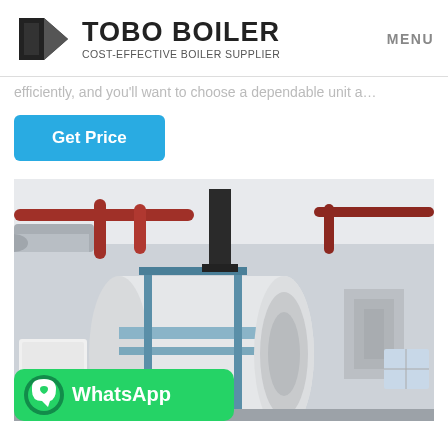TOBO BOILER — COST-EFFECTIVE BOILER SUPPLIER | MENU
efficiently, and you'll want to choose a dependable unit a…
Get Price
[Figure (photo): Industrial boiler room showing a large horizontal white cylindrical boiler with blue frame supports, red and brown pipes overhead, chimney stack, in a light-colored industrial facility interior.]
WhatsApp